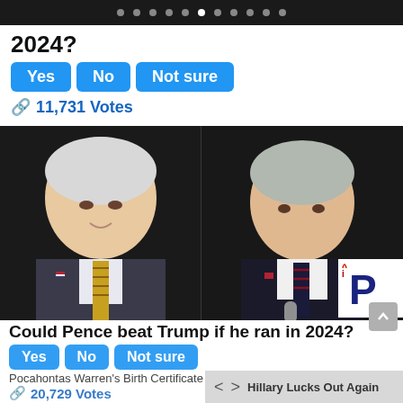nav dots
2024?
Yes  No  Not sure
🔗 11,731 Votes
[Figure (photo): Side by side photos of Mike Pence (left, smiling, wearing a gold striped tie and suit with American flag pin) and Joe Biden (right, serious expression, at a microphone, wearing a dark suit and striped tie) against dark backgrounds. iP logo watermark in upper right corner of Biden photo.]
Could Pence beat Trump if he ran in 2024?
Yes  No  Not sure
Pocahontas Warren's Birth Certificate
20,729 Votes
Hillary Lucks Out Again